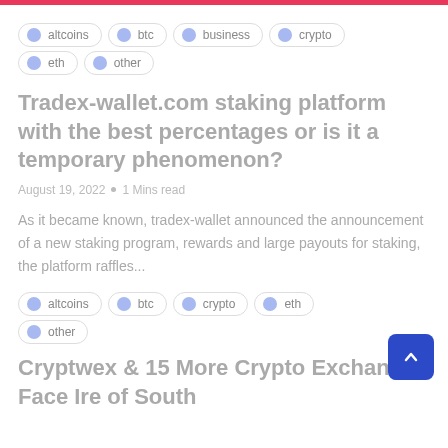altcoins  btc  business  crypto  eth  other
Tradex-wallet.com staking platform with the best percentages or is it a temporary phenomenon?
August 19, 2022  ·  1 Mins read
As it became known, tradex-wallet announced the announcement of a new staking program, rewards and large payouts for staking, the platform raffles...
altcoins  btc  crypto  eth  other
Cryptwex & 15 More Crypto Exchanges Face Ire of South